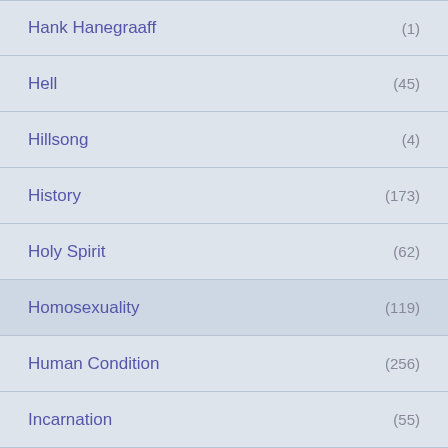Hank Hanegraaff (1)
Hell (45)
Hillsong (4)
History (173)
Holy Spirit (62)
Homosexuality (119)
Human Condition (256)
Incarnation (55)
Inerrancy of Scripture (48)
Islamic Fundamentalists (5)